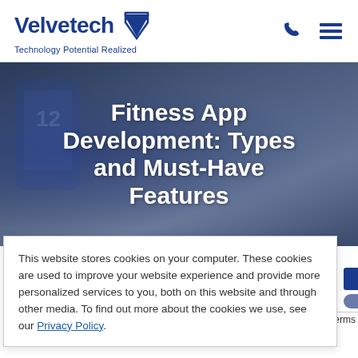[Figure (logo): Velvetech logo with shield/V icon and tagline 'Technology Potential Realized']
Fitness App Development: Types and Must-Have Features
[Figure (photo): Blurred background photo of person using smartphone with gym equipment]
This website stores cookies on your computer. These cookies are used to improve your website experience and provide more personalized services to you, both on this website and through other media. To find out more about the cookies we use, see our Privacy Policy.